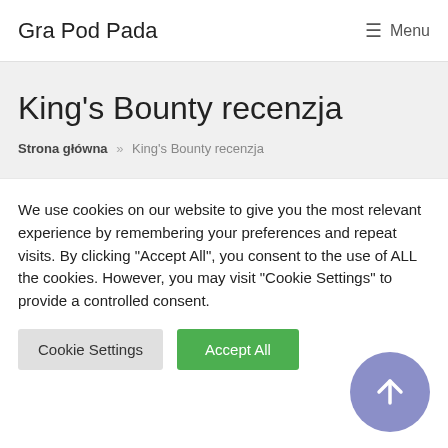Gra Pod Pada   ☰ Menu
King's Bounty recenzja
Strona główna » King's Bounty recenzja
We use cookies on our website to give you the most relevant experience by remembering your preferences and repeat visits. By clicking "Accept All", you consent to the use of ALL the cookies. However, you may visit "Cookie Settings" to provide a controlled consent.
Cookie Settings   Accept All